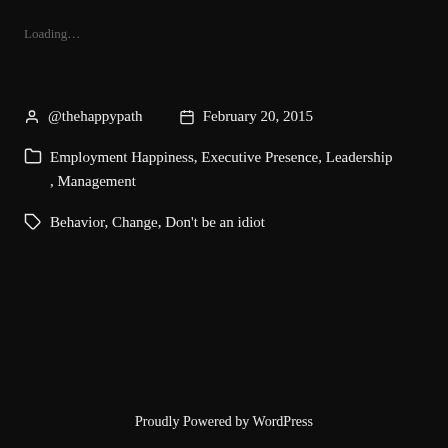Loading…
@thehappypath   February 20, 2015
Employment Happiness, Executive Presence, Leadership, Management
Behavior, Change, Don't be an idiot
Proudly Powered by WordPress